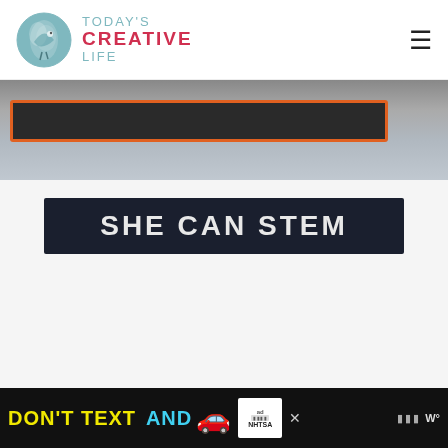TODAY'S CREATIVE LIFE
[Figure (photo): Partial view of a dark-colored book or sign with orange border, text partially visible, against a grey background]
[Figure (other): Dark banner with bold white text reading SHE CAN STEM]
[Figure (other): Advertisement banner: DON'T TEXT AND [car emoji] with NHTSA ad badge and close button; weather app icon on right]